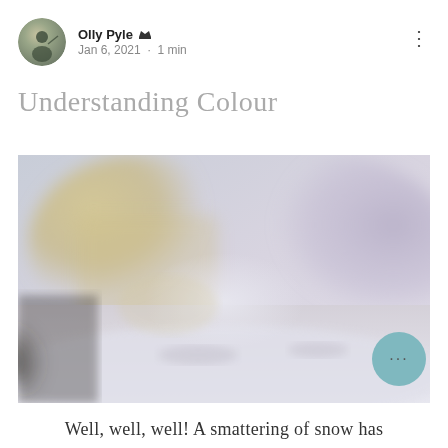Olly Pyle  Jan 6, 2021 · 1 min
Understanding Colour
[Figure (photo): A blurred outdoor winter scene showing snow-covered ground and soft muted tones of beige, grey, and lavender in the background, likely a snowy landscape painting or photograph.]
Well, well, well! A smattering of snow has